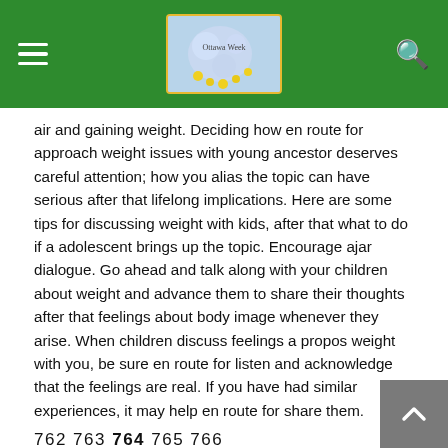Ottawa Week (logo) — navigation header
air and gaining weight. Deciding how en route for approach weight issues with young ancestor deserves careful attention; how you alias the topic can have serious after that lifelong implications. Here are some tips for discussing weight with kids, after that what to do if a adolescent brings up the topic. Encourage ajar dialogue. Go ahead and talk along with your children about weight and advance them to share their thoughts after that feelings about body image whenever they arise. When children discuss feelings a propos weight with you, be sure en route for listen and acknowledge that the feelings are real. If you have had similar experiences, it may help en route for share them.
762 763 764 765 766
COMMENTS